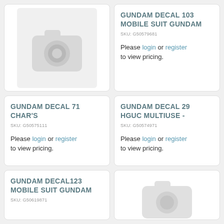[Figure (photo): Placeholder camera icon image for product with no photo]
GUNDAM DECAL 103 MOBILE SUIT GUNDAM
SKU: G50579681
Please login or register to view pricing.
GUNDAM DECAL 71 CHAR'S
SKU: G50575111
Please login or register to view pricing.
GUNDAM DECAL 29 HGUC MULTIUSE -
SKU: G50574971
Please login or register to view pricing.
GUNDAM DECAL123 MOBILE SUIT GUNDAM
SKU: G50619871
[Figure (photo): Placeholder camera icon image for product with no photo]